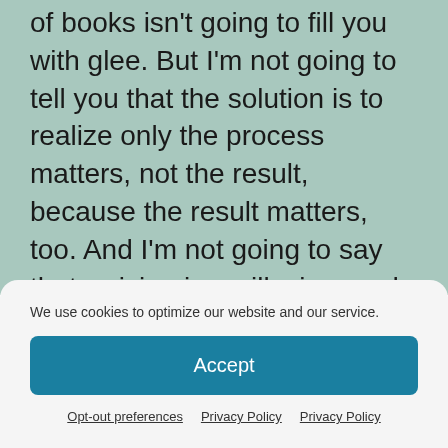of books isn't going to fill you with glee. But I'm not going to tell you that the solution is to realize only the process matters, not the result, because the result matters, too. And I'm not going to say that arriving is an illusion, and you're an idiot for wanting to get there. And I'm certainly not going to say that fulfilling a goal isn't worth the effort.
We use cookies to optimize our website and our service.
Accept
Opt-out preferences  Privacy Policy  Privacy Policy